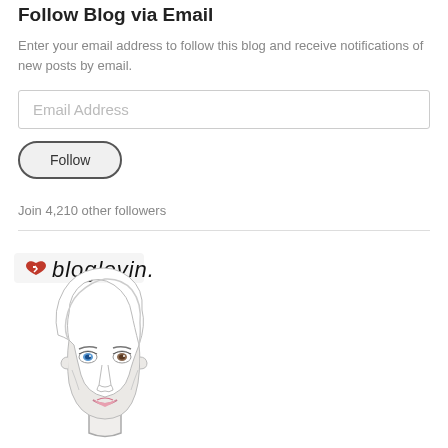Follow Blog via Email
Enter your email address to follow this blog and receive notifications of new posts by email.
Email Address
Follow
Join 4,210 other followers
[Figure (illustration): Bloglovin logo image: a sketched face of a woman with blue eyes and pink lips, with a broken heart icon and the text 'bloglovin.' in handwritten style above]